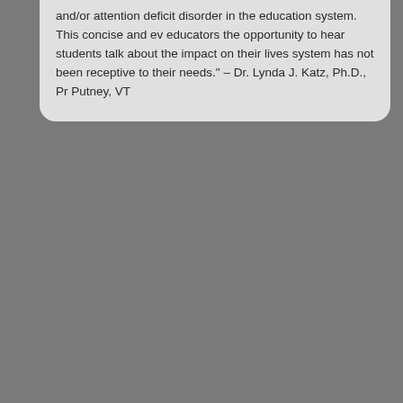and/or attention deficit disorder in the education system. This concise and ev educators the opportunity to hear students talk about the impact on their lives system has not been receptive to their needs." – Dr. Lynda J. Katz, Ph.D., Pr Putney, VT